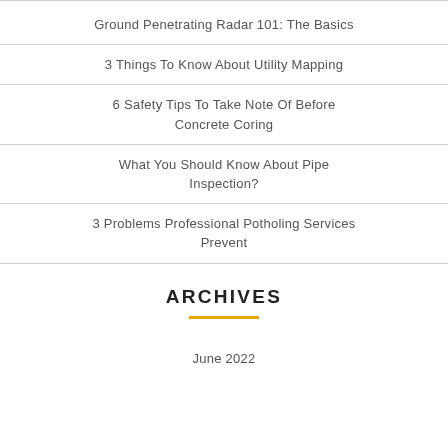Ground Penetrating Radar 101: The Basics
3 Things To Know About Utility Mapping
6 Safety Tips To Take Note Of Before Concrete Coring
What You Should Know About Pipe Inspection?
3 Problems Professional Potholing Services Prevent
ARCHIVES
June 2022